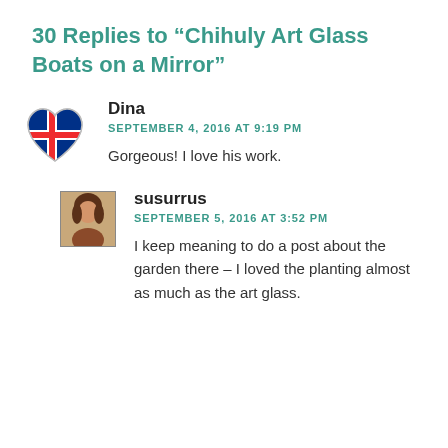30 Replies to “Chihuly Art Glass Boats on a Mirror”
[Figure (illustration): Heart-shaped avatar with Norwegian flag design (red, white, blue cross on heart)]
Dina
SEPTEMBER 4, 2016 AT 9:19 PM
Gorgeous! I love his work.
[Figure (photo): Small square profile photo of a woman with dark hair]
susurrus
SEPTEMBER 5, 2016 AT 3:52 PM
I keep meaning to do a post about the garden there – I loved the planting almost as much as the art glass.